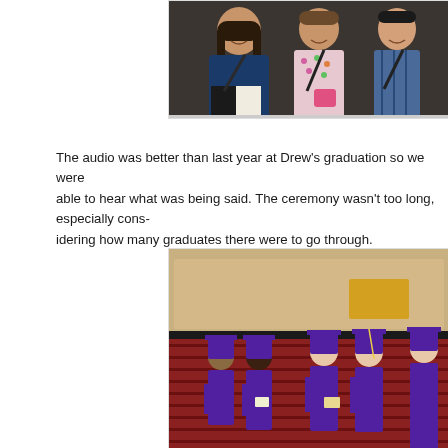[Figure (photo): Three people seated in a car with seatbelts on — a girl with long dark hair, a woman in a floral shirt, and a boy in a plaid shirt, all smiling.]
The audio was better than last year at Drew's graduation so we were able to hear what was being said. The ceremony wasn't too long, especially considering how many graduates there were to go through.
[Figure (photo): Graduation ceremony scene with students in purple caps and gowns walking through rows of red seats in an arena, with audience members visible in the background bleachers.]